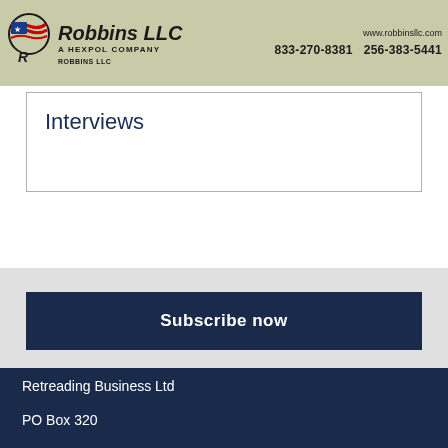Robbins LLC — A HEXPOL COMPANY | www.robbinsllc.com | 833-270-8381 | 256-383-5441
Interviews
Subscribe now
Retreading Business Ltd
PO Box 320